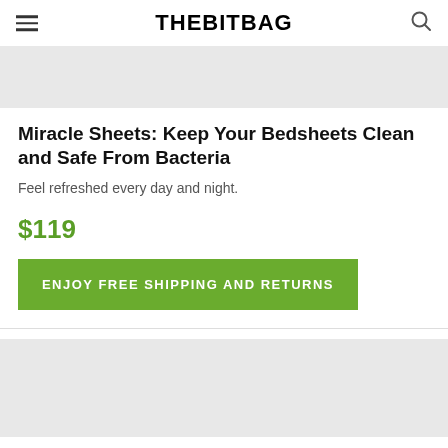THEBITBAG
[Figure (photo): Top image placeholder, light gray background]
Miracle Sheets: Keep Your Bedsheets Clean and Safe From Bacteria
Feel refreshed every day and night.
$119
ENJOY FREE SHIPPING AND RETURNS
[Figure (photo): Bottom image placeholder, light gray background]